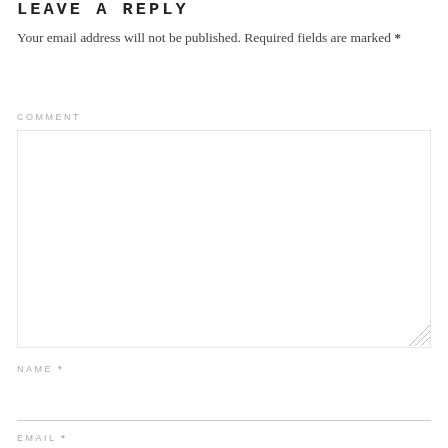LEAVE A REPLY
Your email address will not be published. Required fields are marked *
COMMENT
[Figure (other): Large empty comment text area input box with resize handle at bottom right]
NAME *
EMAIL *